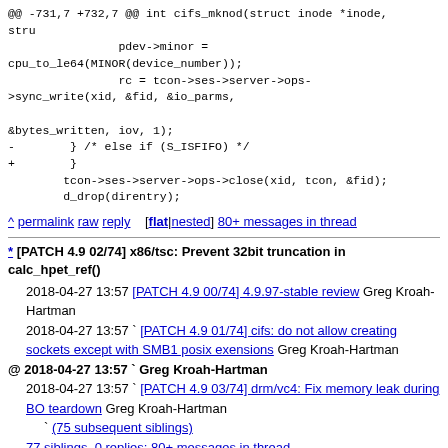@@ -731,7 +732,7 @@ int cifs_mknod(struct inode *inode, stru
                pdev->minor =
cpu_to_le64(MINOR(device_number));
                rc = tcon->ses->server->ops-
>sync_write(xid, &fid, &io_parms,

&bytes_written, iov, 1);
-        } /* else if (S_ISFIFO) */
+        }
        tcon->ses->server->ops->close(xid, tcon, &fid);
        d_drop(direntry);
^ permalink raw reply [flat|nested] 80+ messages in thread
* [PATCH 4.9 02/74] x86/tsc: Prevent 32bit truncation in calc_hpet_ref()
2018-04-27 13:57 [PATCH 4.9 00/74] 4.9.97-stable review Greg Kroah-Hartman
  2018-04-27 13:57 ` [PATCH 4.9 01/74] cifs: do not allow creating sockets except with SMB1 posix exensions Greg Kroah-Hartman
@ 2018-04-27 13:57 ` Greg Kroah-Hartman
  2018-04-27 13:57 ` [PATCH 4.9 03/74] drm/vc4: Fix memory leak during BO teardown Greg Kroah-Hartman
                   ` (75 subsequent siblings)
  77 siblings, 0 replies; 80+ messages in thread
From: Greg Kroah-Hartman @ 2018-04-27 13:57 UTC